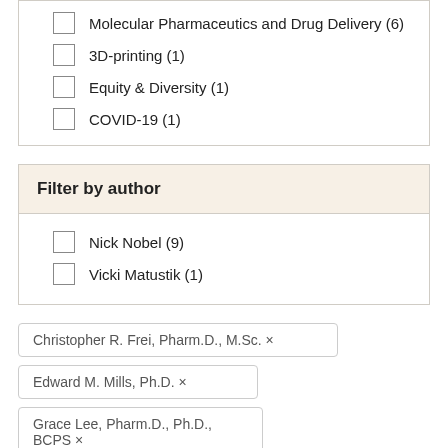Molecular Pharmaceutics and Drug Delivery (6)
3D-printing (1)
Equity & Diversity (1)
COVID-19 (1)
Filter by author
Nick Nobel (9)
Vicki Matustik (1)
Christopher R. Frei, Pharm.D., M.Sc. ×
Edward M. Mills, Ph.D. ×
Grace Lee, Pharm.D., Ph.D., BCPS ×